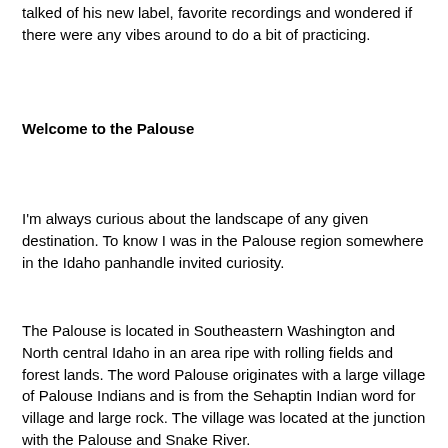talked of his new label, favorite recordings and wondered if there were any vibes around to do a bit of practicing.
Welcome to the Palouse
I'm always curious about the landscape of any given destination. To know I was in the Palouse region somewhere in the Idaho panhandle invited curiosity.
The Palouse is located in Southeastern Washington and North central Idaho in an area ripe with rolling fields and forest lands. The word Palouse originates with a large village of Palouse Indians and is from the Sehaptin Indian word for village and large rock. The village was located at the junction with the Palouse and Snake River.